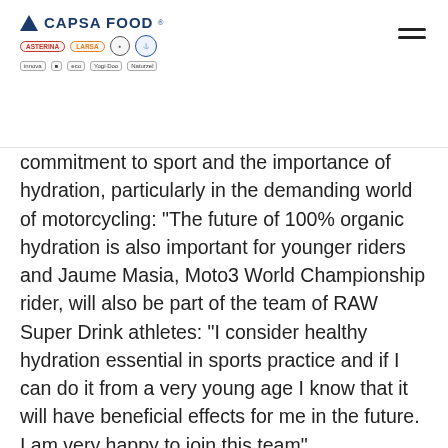CAPSA FOOD [logo with brand badges]
commitment to sport and the importance of hydration, particularly in the demanding world of motorcycling: “The future of 100% organic hydration is also important for younger riders and Jaume Masia, Moto3 World Championship rider, will also be part of the team of RAW Super Drink athletes: “I consider healthy hydration essential in sports practice and if I can do it from a very young age I know that it will have beneficial effects for me in the future. I am very happy to join this team”.